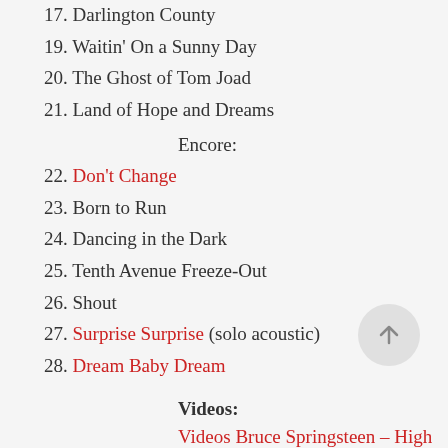17. Darlington County
19. Waitin' On a Sunny Day
20. The Ghost of Tom Joad
21. Land of Hope and Dreams
Encore:
22. Don't Change
23. Born to Run
24. Dancing in the Dark
25. Tenth Avenue Freeze-Out
26. Shout
27. Surprise Surprise (solo acoustic)
28. Dream Baby Dream
Videos:
Videos Bruce Springsteen – High Hopes Tour 2014